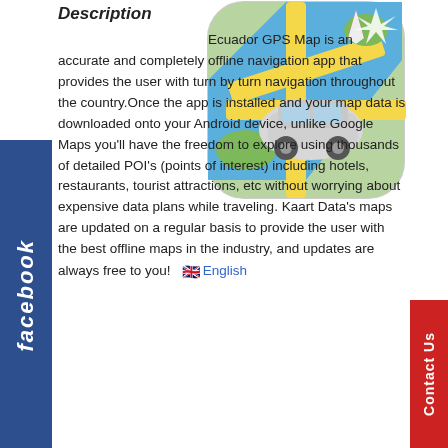Description
[Figure (illustration): Ecuador GPS Map app icon showing a car on a stylized map with roads and a compass/arrow, displayed as a rounded rectangle mobile app icon.]
Ecuador GPS Map is an accurate and completely offline navigation app that provides the user with turn by turn navigation throughout the country.Once the app is installed and your map data is downloaded onto your Android device, unlike Google Maps you'll have the freedom to explore using thousands of detailed POI's (points of interest) including hotels, restaurants, tourist attractions, etc without worrying about expensive data plans while traveling. Kaart Data's maps are updated on a regular basis to provide the user with the best offline maps in the industry, and updates are always free to you!
English